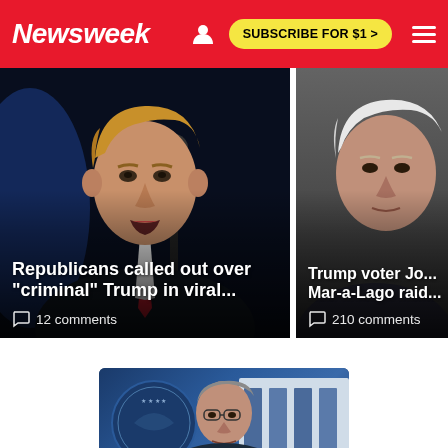Newsweek
[Figure (photo): Donald Trump speaking at a rally, dark background with blue lighting, wearing a dark suit and red tie]
Republicans called out over "criminal" Trump in viral...
12 comments
[Figure (photo): Older white-haired man, partially cropped, dark background]
Trump voter Jo... Mar-a-Lago raid...
210 comments
[Figure (photo): Merrick Garland at a podium with Department of Justice seal in background, blue and white colors]